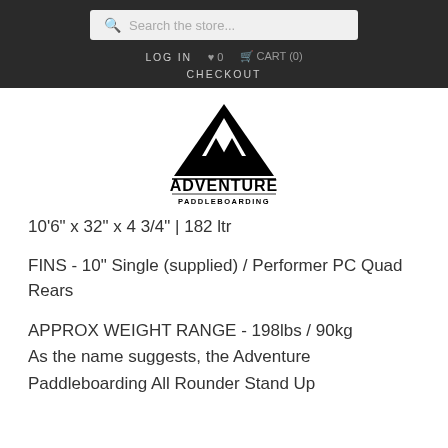Search the store...
LOG IN  ♥ 0  🛒 CART (0)
CHECKOUT
[Figure (logo): Adventure Paddleboarding logo — black triangle mountain shape with wave, text ADVENTURE PADDLEBOARDING below]
10'6" x 32" x 4 3/4" | 182 ltr
FINS - 10" Single (supplied) / Performer PC Quad Rears
APPROX WEIGHT RANGE - 198lbs / 90kg
As the name suggests, the Adventure Paddleboarding All Rounder Stand Up